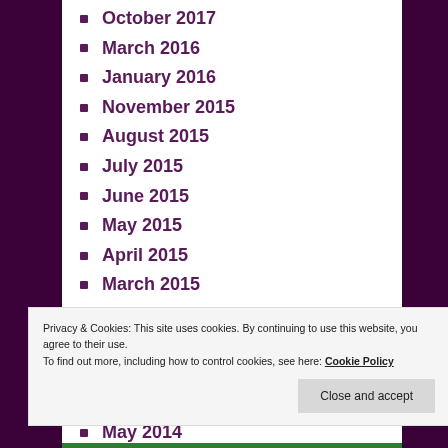October 2017
March 2016
January 2016
November 2015
August 2015
July 2015
June 2015
May 2015
April 2015
March 2015
January 2015
October 2014
August 2014
June 2014
May 2014
Privacy & Cookies: This site uses cookies. By continuing to use this website, you agree to their use.
To find out more, including how to control cookies, see here: Cookie Policy
Close and accept